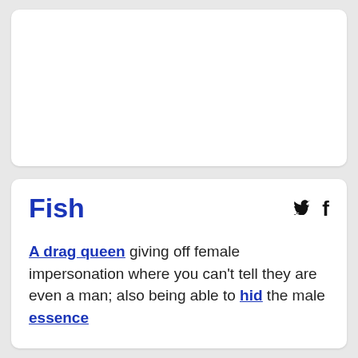[Figure (other): Empty white card placeholder at top of page]
Fish
A drag queen giving off female impersonation where you can't tell they are even a man; also being able to hid the male essence